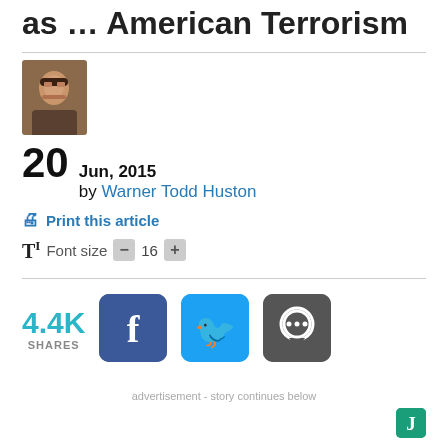as … American Terrorism
[Figure (photo): Author headshot photo]
20 Jun, 2015 by Warner Todd Huston
Print this article
Font size  - 16 +
4.4K SHARES
advertisement - story continues below